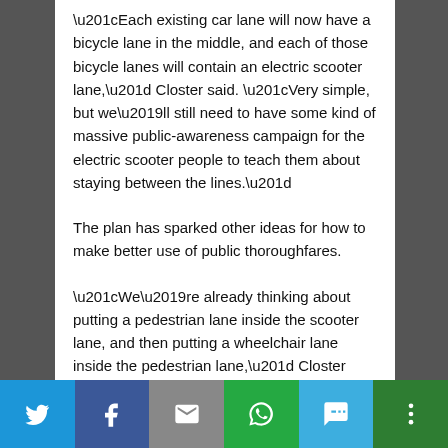“Each existing car lane will now have a bicycle lane in the middle, and each of those bicycle lanes will contain an electric scooter lane,” Closter said. “Very simple, but we’ll still need to have some kind of massive public-awareness campaign for the electric scooter people to teach them about staying between the lines.”
The plan has sparked other ideas for how to make better use of public thoroughfares.
“We’re already thinking about putting a pedestrian lane inside the scooter lane, and then putting a wheelchair lane inside the pedestrian lane,” Closter said. “I truly believe 5-in-1 lanes are the future.”
Share bar with Twitter, Facebook, Email, WhatsApp, SMS, More buttons